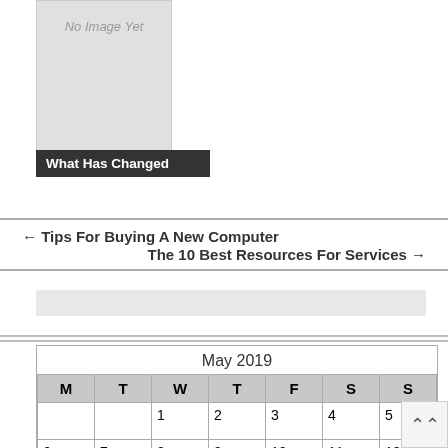[Figure (photo): Placeholder image box with text 'No Image Yet']
What Has Changed
← Tips For Buying A New Computer
The 10 Best Resources For Services →
| M | T | W | T | F | S | S |
| --- | --- | --- | --- | --- | --- | --- |
|  |  | 1 | 2 | 3 | 4 | 5 |
| 6 | 7 | 8 | 9 | 10 | 11 | 12 |
| 13 | 14 | 15 | 16 | 17 | 18 | 19 |
| 20 | 21 | 22 | 23 | 24 | 25 | 26 |
| 27 | 28 | 29 | 30 | 31 |  |  |